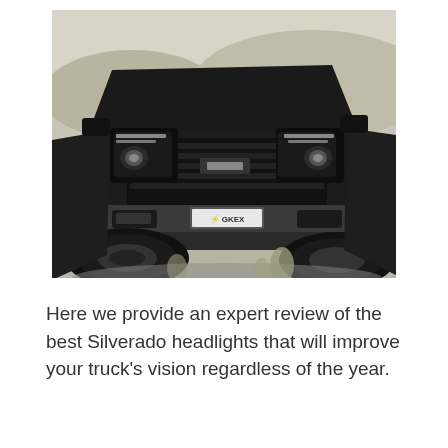[Figure (photo): Black Chevrolet Silverado truck with custom headlights and GKEX license plate surround, photographed from the front at a low angle on rocky/sandy terrain with desert scrub brush in the background.]
Here we provide an expert review of the best Silverado headlights that will improve your truck's vision regardless of the year.